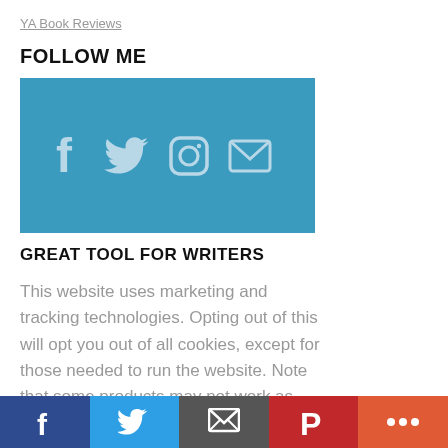YA Book Reviews
FOLLOW ME
[Figure (illustration): Teal/blue social media box showing icons for Facebook, Twitter, Instagram, and Email/envelope]
GREAT TOOL FOR WRITERS
This website uses marketing and tracking technologies. Opting out of this will opt you out of all cookies, except for those needed to run the website. Note that some products may not work as well without tracking cookies. Opted out of cookies
[Figure (infographic): Bottom social sharing bar with Facebook (dark blue), Twitter (blue), RSS/email (gray), Pinterest (red), and More (orange) buttons]